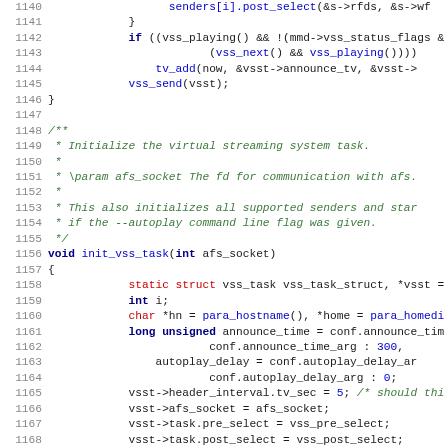[Figure (screenshot): Source code listing lines 1140-1171 of a C file showing virtual streaming system task initialization code with syntax highlighting]